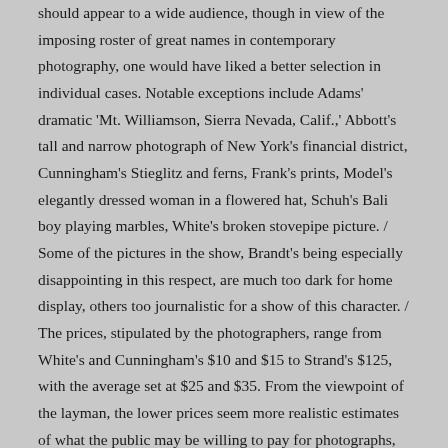should appear to a wide audience, though in view of the imposing roster of great names in contemporary photography, one would have liked a better selection in individual cases. Notable exceptions include Adams' dramatic 'Mt. Williamson, Sierra Nevada, Calif.,' Abbott's tall and narrow photograph of New York's financial district, Cunningham's Stieglitz and ferns, Frank's prints, Model's elegantly dressed woman in a flowered hat, Schuh's Bali boy playing marbles, White's broken stovepipe picture. / Some of the pictures in the show, Brandt's being especially disappointing in this respect, are much too dark for home display, others too journalistic for a show of this character. / The prices, stipulated by the photographers, range from White's and Cunningham's $10 and $15 to Strand's $125, with the average set at $25 and $35. From the viewpoint of the layman, the lower prices seem more realistic estimates of what the public may be willing to pay for photographs, through devotees of photography may be expected to pay the higher prices for the pleasure of owning an original Adams, Abbott or Weston. / .."[remainder of article discusses the